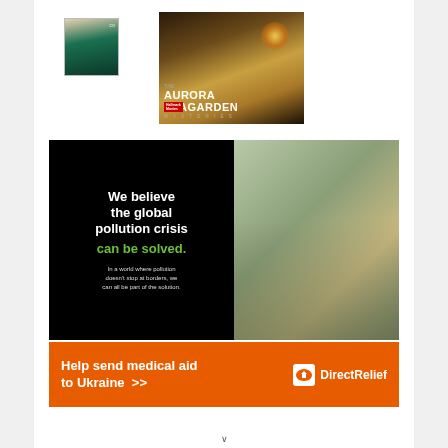[Figure (photo): Small portrait photo of a woman in a green dress at a red carpet event]
[Figure (photo): Aurora Teagarden Mysteries movie/show poster featuring a blonde woman near a glowing street lamp. Text reads: THE AURORA TEAGARDEN MYSTERIES]
[Figure (infographic): Advertisement with black left panel reading: We believe the global pollution crisis can be solved. In a world where pollution doesn't stop at borders, we can all be part of the solution. Right panel shows a man with a white hard hat holding a plant.]
[Figure (infographic): Direct Relief advertisement on orange background: Help send medical aid to Ukraine >> with Direct Relief logo]